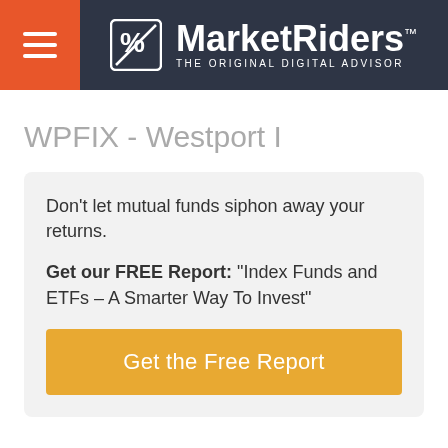[Figure (logo): MarketRiders logo with hamburger menu on orange background, dark navy header bar, logo icon and text 'MarketRiders THE ORIGINAL DIGITAL ADVISOR']
WPFIX - Westport I
Don't let mutual funds siphon away your returns.
Get our FREE Report: "Index Funds and ETFs – A Smarter Way To Invest"
Get the Free Report